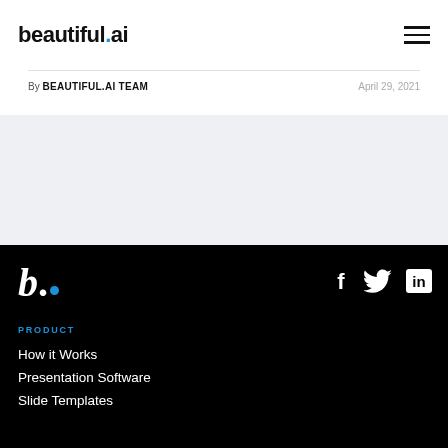beautiful.ai
By BEAUTIFUL.AI TEAM    April 29, 2021
[Figure (other): Light gray background content area placeholder]
[Figure (logo): beautiful.ai footer logo — stylized 'b.' with blue dot, on black background]
[Figure (other): Social media icons: Facebook, Twitter, LinkedIn on black background]
PRODUCT
How it Works
Presentation Software
Slide Templates